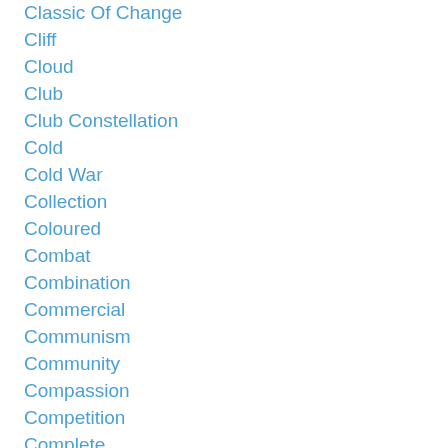Classic Of Change
Cliff
Cloud
Club
Club Constellation
Cold
Cold War
Collection
Coloured
Combat
Combination
Commercial
Communism
Community
Compassion
Competition
Complete
Completeness
Concentration
Concepts
Conditioning